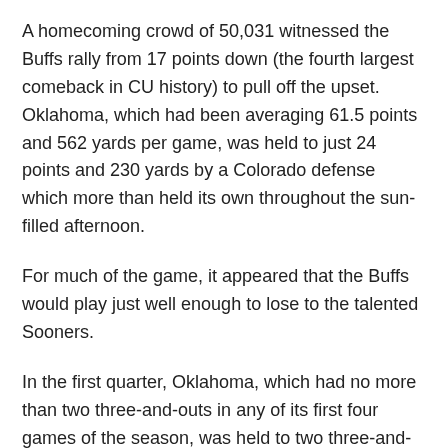A homecoming crowd of 50,031 witnessed the Buffs rally from 17 points down (the fourth largest comeback in CU history) to pull off the upset. Oklahoma, which had been averaging 61.5 points and 562 yards per game, was held to just 24 points and 230 yards by a Colorado defense which more than held its own throughout the sun-filled afternoon.
For much of the game, it appeared that the Buffs would play just well enough to lose to the talented Sooners.
In the first quarter, Oklahoma, which had no more than two three-and-outs in any of its first four games of the season, was held to two three-and-outs to open the game. The Colorado offense was only moderately more successful, gaining a first down on each of its first two drives before punting.